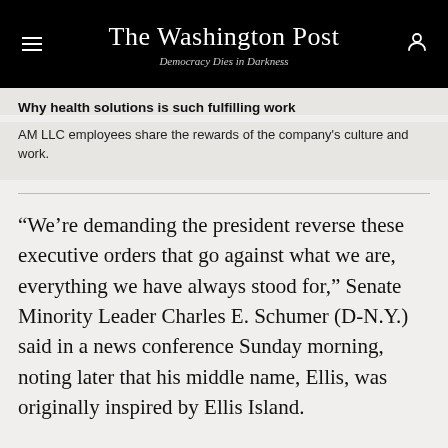The Washington Post — Democracy Dies in Darkness
Why health solutions is such fulfilling work
AM LLC employees share the rewards of the company's culture and work.
“We’re demanding the president reverse these executive orders that go against what we are, everything we have always stood for,” Senate Minority Leader Charles E. Schumer (D-N.Y.) said in a news conference Sunday morning, noting later that his middle name, Ellis, was originally inspired by Ellis Island.
[Figure (infographic): Green advertisement banner: IF YOU CAN PLAN A WEDDING YOU CAN PLAN FOR A NATURAL DISASTER — GET STARTED, Ready FEMA ad]